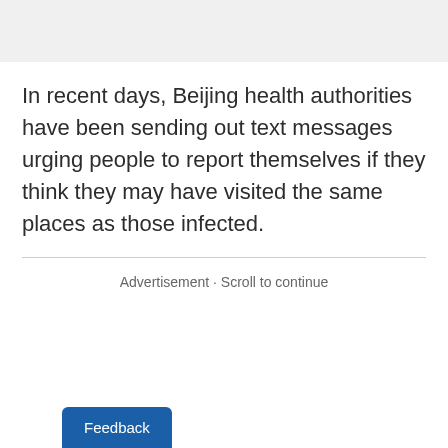In recent days, Beijing health authorities have been sending out text messages urging people to report themselves if they think they may have visited the same places as those infected.
Advertisement · Scroll to continue
Feedback